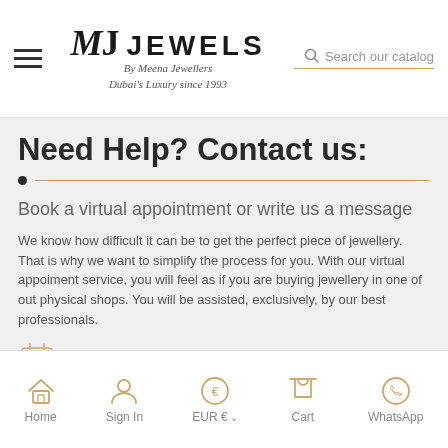[Figure (logo): MJ Jewels by Meena Jewellers logo with hamburger menu and search bar in header]
Need Help? Contact us:
Book a virtual appointment or write us a message
We know how difficult it can be to get the perfect piece of jewellery. That is why we want to simplify the process for you. With our virtual appoiment service, you will feel as if you are buying jewellery in one of out physical shops. You will be assisted, exclusively, by our best professionals.
Schedule a virtual appointment
Chat online
Home | Sign In | EUR € | Cart | WhatsApp